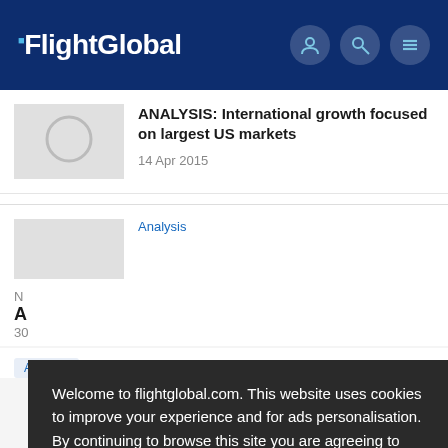FlightGlobal
ANALYSIS: International growth focused on largest US markets
14 Apr 2015
Analysis
Welcome to flightglobal.com. This website uses cookies to improve your experience and for ads personalisation. By continuing to browse this site you are agreeing to our use of these cookies. You can learn more about the cookies we use here.
OK
A
30
Analysis